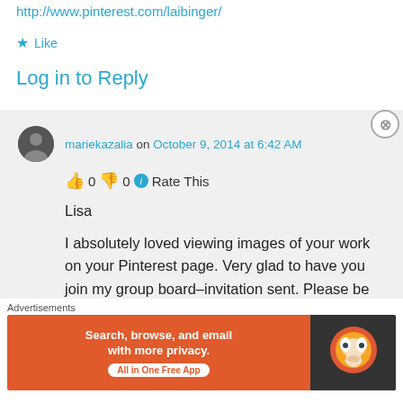http://www.pinterest.com/laibinger/
★ Like
Log in to Reply
mariekazalia on October 9, 2014 at 6:42 AM
👍 0 👎 0 ℹ Rate This
Lisa

I absolutely loved viewing images of your work on your Pinterest page. Very glad to have you join my group board–invitation sent. Please be sure to add a retail price to
Advertisements
[Figure (screenshot): DuckDuckGo advertisement banner: orange background with text 'Search, browse, and email with more privacy. All in One Free App' and DuckDuckGo duck logo on dark background]